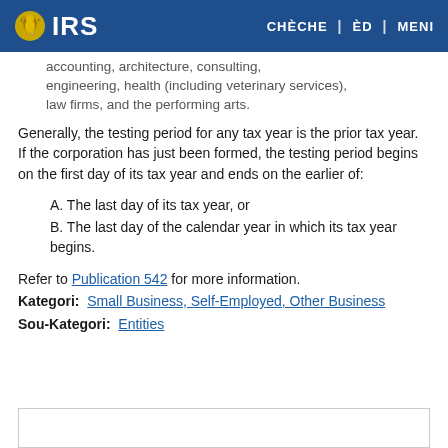IRS | CHÈCHE | ÈD | MENI
accounting, architecture, consulting, engineering, health (including veterinary services), law firms, and the performing arts.
Generally, the testing period for any tax year is the prior tax year. If the corporation has just been formed, the testing period begins on the first day of its tax year and ends on the earlier of:
A. The last day of its tax year, or
B. The last day of the calendar year in which its tax year begins.
Refer to Publication 542 for more information.
Kategori: Small Business, Self-Employed, Other Business
Sou-Kategori: Entities